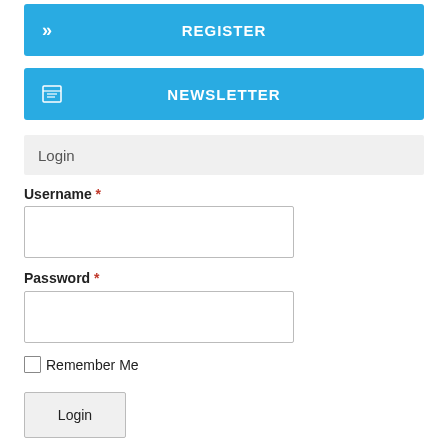[Figure (screenshot): Blue REGISTER button with double chevron icon on left]
[Figure (screenshot): Blue NEWSLETTER button with grid/table icon on left]
Login
Username *
[Figure (screenshot): Empty text input field for username]
Password *
[Figure (screenshot): Empty text input field for password]
Remember Me
[Figure (screenshot): Login submit button]